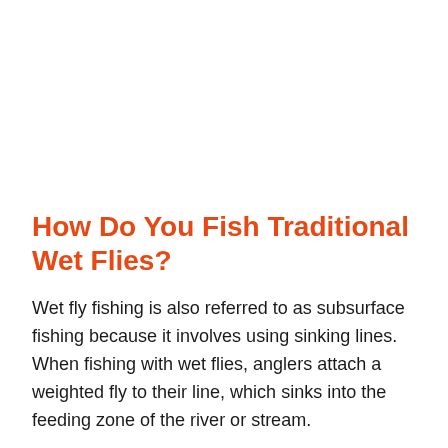How Do You Fish Traditional Wet Flies?
Wet fly fishing is also referred to as subsurface fishing because it involves using sinking lines. When fishing with wet flies, anglers attach a weighted fly to their line, which sinks into the feeding zone of the river or stream.